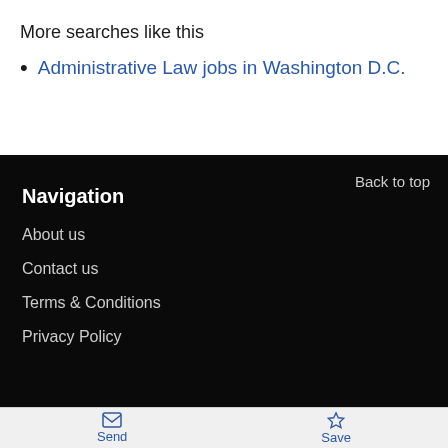More searches like this
Administrative Law jobs in Washington D.C.
Back to top
Navigation
About us
Contact us
Terms & Conditions
Privacy Policy
Send  Save